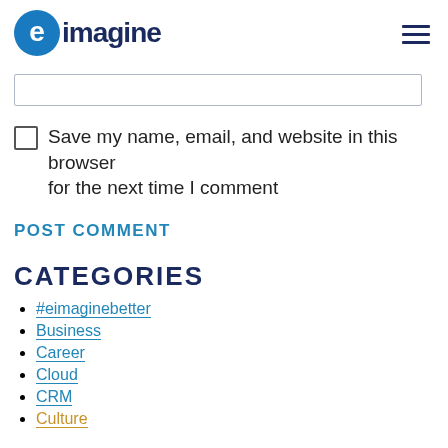[Figure (logo): eimagine logo with blue circle containing white 'e' and dark navy text 'eimagine']
Save my name, email, and website in this browser for the next time I comment
POST COMMENT
CATEGORIES
#eimaginebetter
Business
Career
Cloud
CRM
Culture
This website uses cookies to ensure you get the best experience on our website. View eimagine cookie policy
I Accept